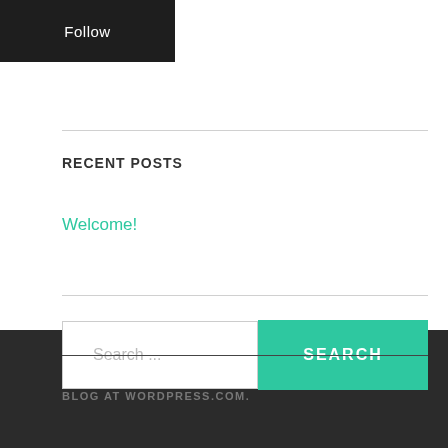Follow
RECENT POSTS
Welcome!
Search ...
SEARCH
BLOG AT WORDPRESS.COM.